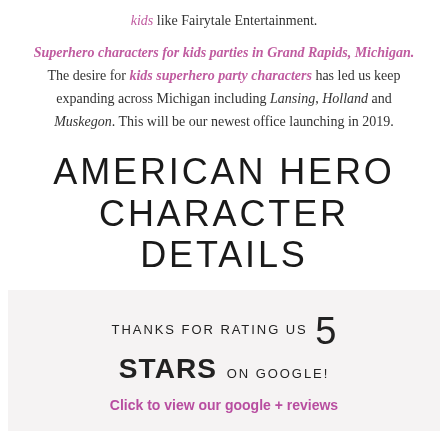kids like Fairytale Entertainment.
Superhero characters for kids parties in Grand Rapids, Michigan. The desire for kids superhero party characters has led us keep expanding across Michigan including Lansing, Holland and Muskegon. This will be our newest office launching in 2019.
AMERICAN HERO CHARACTER DETAILS
THANKS FOR RATING US 5 STARS ON GOOGLE!
Click to view our google + reviews